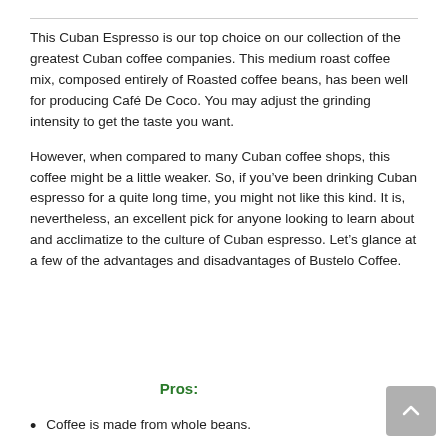This Cuban Espresso is our top choice on our collection of the greatest Cuban coffee companies. This medium roast coffee mix, composed entirely of Roasted coffee beans, has been well for producing Café De Coco. You may adjust the grinding intensity to get the taste you want.
However, when compared to many Cuban coffee shops, this coffee might be a little weaker. So, if you've been drinking Cuban espresso for a quite long time, you might not like this kind. It is, nevertheless, an excellent pick for anyone looking to learn about and acclimatize to the culture of Cuban espresso. Let's glance at a few of the advantages and disadvantages of Bustelo Coffee.
Pros:
Coffee is made from whole beans.